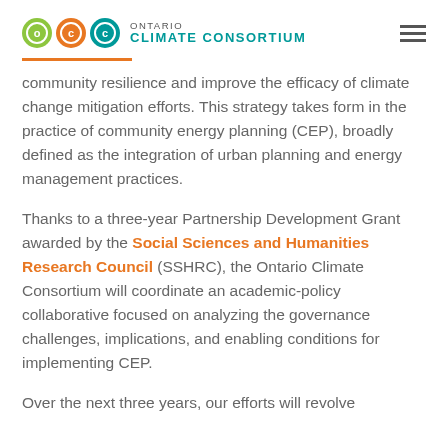ONTARIO CLIMATE CONSORTIUM
community resilience and improve the efficacy of climate change mitigation efforts. This strategy takes form in the practice of community energy planning (CEP), broadly defined as the integration of urban planning and energy management practices.
Thanks to a three-year Partnership Development Grant awarded by the Social Sciences and Humanities Research Council (SSHRC), the Ontario Climate Consortium will coordinate an academic-policy collaborative focused on analyzing the governance challenges, implications, and enabling conditions for implementing CEP.
Over the next three years, our efforts will revolve